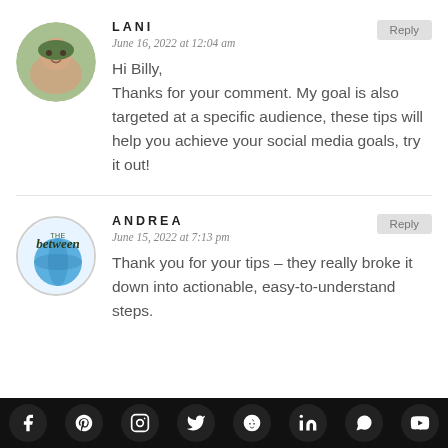[Figure (photo): Circular avatar photo of Lani, a woman smiling outdoors with green background]
LANI
June 16, 2022 at 12:04 am
Hi Billy, Thanks for your comment. My goal is also targeted at a specific audience, these tips will help you achieve your social media goals, try it out!
[Figure (logo): Circular logo for Andrea with world globe and handwritten 'between' text]
ANDREA
June 15, 2022 at 7:13 pm
Thank you for your tips – they really broke it down into actionable, easy-to-understand steps.
[Figure (infographic): Social media sharing bar with icons: Facebook, Pinterest, Instagram, Twitter, Reddit, LinkedIn, WhatsApp, YouTube]